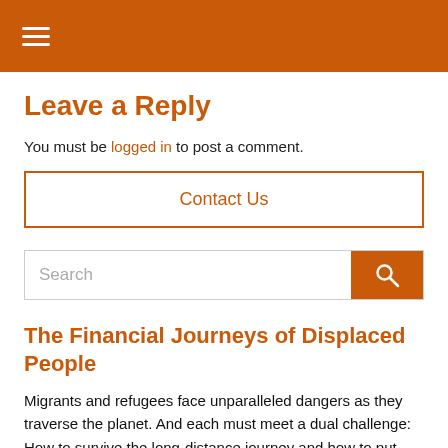≡
Leave a Reply
You must be logged in to post a comment.
Contact Us
Search
The Financial Journeys of Displaced People
Migrants and refugees face unparalleled dangers as they traverse the planet. And each must meet a dual challenge: How to survive the long-distance journey and how to put down roots in a new home.